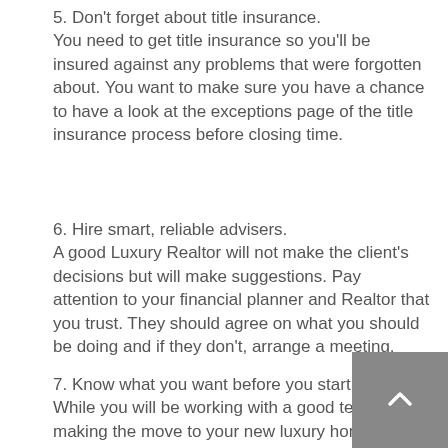5. Don't forget about title insurance. You need to get title insurance so you'll be insured against any problems that were forgotten about. You want to make sure you have a chance to have a look at the exceptions page of the title insurance process before closing time.
6. Hire smart, reliable advisers. A good Luxury Realtor will not make the client's decisions but will make suggestions. Pay attention to your financial planner and Realtor that you trust. They should agree on what you should be doing and if they don't, arrange a meeting.
7. Know what you want before you start looking. While you will be working with a good team in making the move to your new luxury home, this